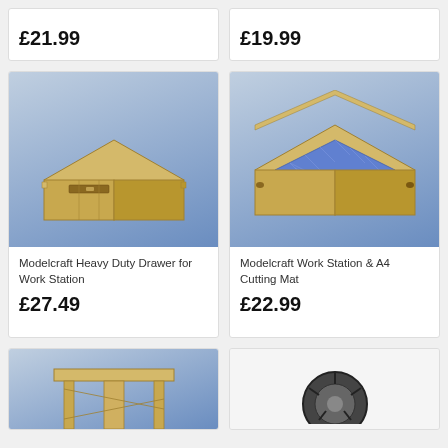£21.99
£19.99
[Figure (photo): Modelcraft Heavy Duty Drawer for Work Station — laser-cut plywood drawer unit on blue gradient background]
Modelcraft Heavy Duty Drawer for Work Station
£27.49
[Figure (photo): Modelcraft Work Station & A4 Cutting Mat — laser-cut plywood tray with blue grid cutting mat on blue gradient background]
Modelcraft Work Station & A4 Cutting Mat
£22.99
[Figure (photo): Partially visible product photo — laser-cut plywood item on blue background, bottom of page]
[Figure (photo): Partially visible product photo — dark circular tool on white background, bottom of page]